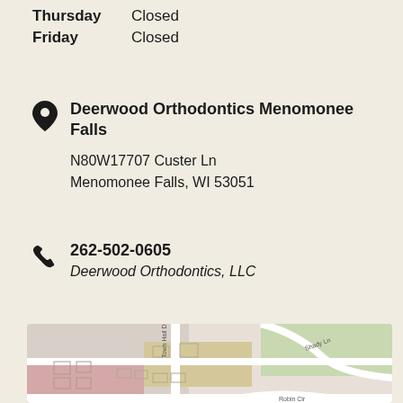Thursday   Closed
Friday   Closed
Deerwood Orthodontics Menomonee Falls
N80W17707 Custer Ln
Menomonee Falls, WI 53051
262-502-0605
Deerwood Orthodontics, LLC
[Figure (map): Street map of Menomonee Falls area showing Shady Ln, Robin Cir, Town Hall Dr intersections with beige, green, pink and grey colored zones.]